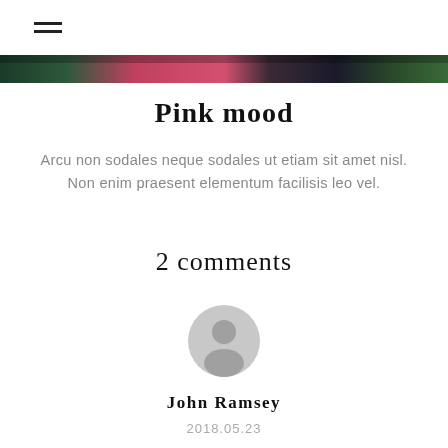[Figure (illustration): Hamburger menu icon (three horizontal lines) in top-left corner]
[Figure (photo): A narrow horizontal strip of a colorful photo — dark greens, pinks, reds — spanning the full width]
Pink mood
Arcu non sodales neque sodales ut etiam sit amet nisl. Non enim praesent elementum facilisis leo vel.
2 comments
[Figure (illustration): Grey circular user avatar icon showing a person silhouette]
John Ramsey
2018.05.23